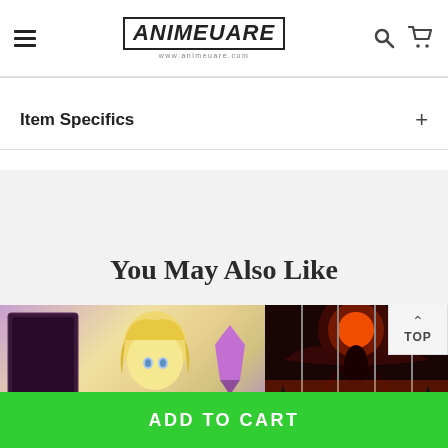AnimeUare www.animeuare.com
Item Specifics
You May Also Like
[Figure (photo): Product image showing anime figure (Saber/Fate) with figure box and purple crystal accessory on left, and multi-panel wall art depicting dark fantasy/anime battle scene on right]
ADD TO CART